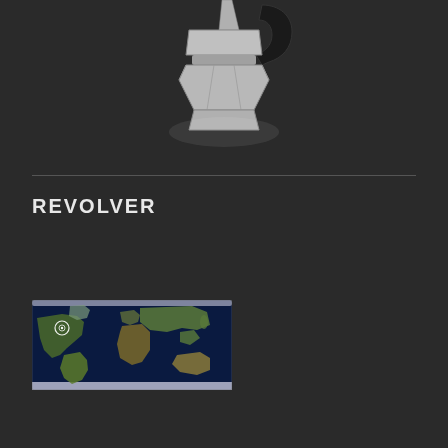[Figure (illustration): Partial view of a moka pot (stovetop espresso maker) shown from the top portion, rendered as a light gray 3D illustration with a dark handle visible, against a dark background. The pot is cropped showing mainly the upper chamber and spout area with geometric faceted body.]
REVOLVER
[Figure (map): A satellite world map image showing Earth's continents from a global perspective. A small circular marker/pin is visible in the North America region (approximately eastern United States area). The map shows oceans in dark blue and landmasses in natural earth tones.]